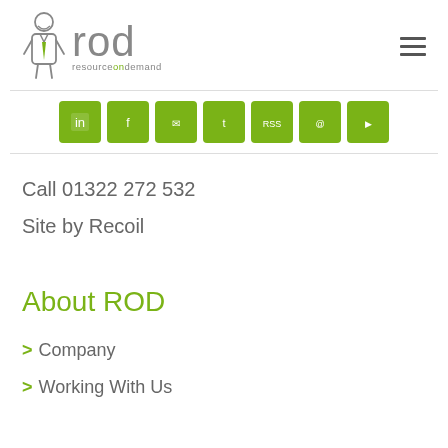[Figure (logo): ROD Resource on Demand logo with illustrated figure and green/grey text]
[Figure (infographic): Row of 7 green social media icon buttons]
Call 01322 272 532
Site by Recoil
About ROD
> Company
> Working With Us